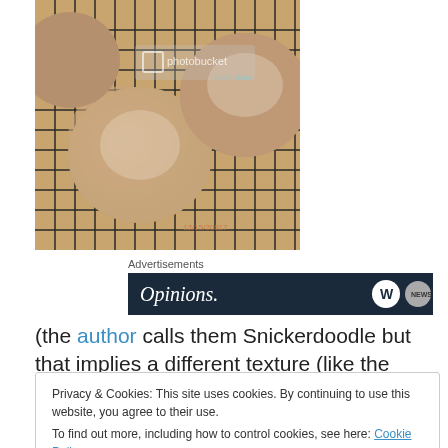[Figure (photo): Cookies dusted with powdered sugar cooling on a wire rack, with a Photobucket watermark overlay]
Advertisements
[Figure (screenshot): Ad banner with dark navy background showing text 'Opinions.' in white italic font and circular logo icons on the right]
(the author calls them Snickerdoodle but that implies a different texture (like the cookie), these taste more like a
Privacy & Cookies: This site uses cookies. By continuing to use this website, you agree to their use.
To find out more, including how to control cookies, see here: Cookie Policy
Close and accept